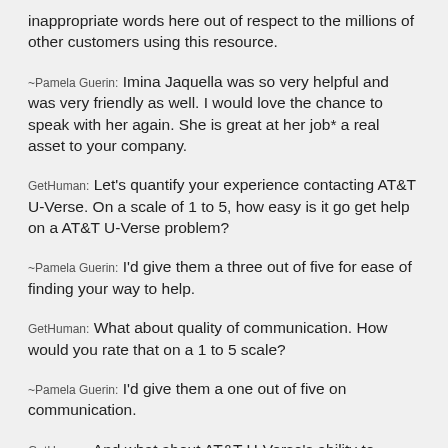inappropriate words here out of respect to the millions of other customers using this resource.
~Pamela Guerin: Imina Jaquella was so very helpful and was very friendly as well. I would love the chance to speak with her again. She is great at her job* a real asset to your company.
GetHuman: Let's quantify your experience contacting AT&T U-Verse. On a scale of 1 to 5, how easy is it go get help on a AT&T U-Verse problem?
~Pamela Guerin: I'd give them a three out of five for ease of finding your way to help.
GetHuman: What about quality of communication. How would you rate that on a 1 to 5 scale?
~Pamela Guerin: I'd give them a one out of five on communication.
GetHuman: And what about AT&T U-Verse's ability to